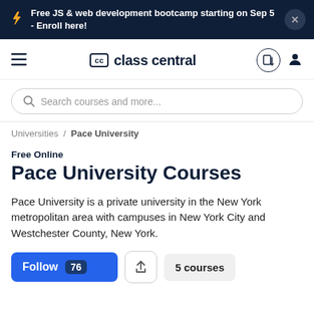Free JS & web development bootcamp starting on Sep 5 - Enroll here!
[Figure (logo): Class Central navigation bar with hamburger menu, logo, list icon, and user icon]
Search courses and more...
Universities / Pace University
Free Online
Pace University Courses
Pace University is a private university in the New York metropolitan area with campuses in New York City and Westchester County, New York.
Follow 76  [share]  5 courses